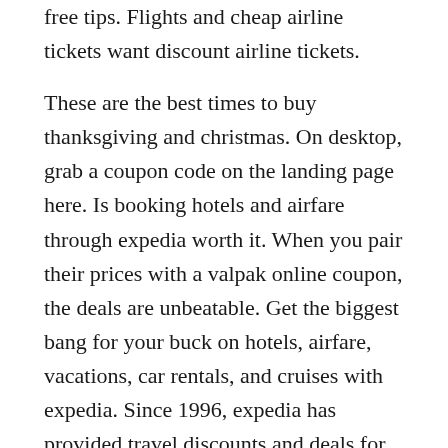free tips. Flights and cheap airline tickets want discount airline tickets.
These are the best times to buy thanksgiving and christmas. On desktop, grab a coupon code on the landing page here. Is booking hotels and airfare through expedia worth it. When you pair their prices with a valpak online coupon, the deals are unbeatable. Get the biggest bang for your buck on hotels, airfare, vacations, car rentals, and cruises with expedia. Since 1996, expedia has provided travel discounts and deals for every service imaginable.